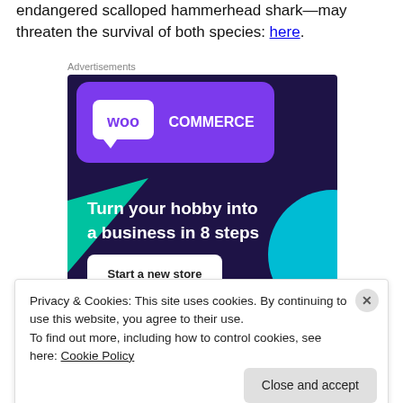endangered scalloped hammerhead shark—may threaten the survival of both species: here.
[Figure (screenshot): WooCommerce advertisement banner with dark purple/navy background. Shows WooCommerce logo at top left, teal triangle shape on left side, cyan circle on right side. Text reads: 'Turn your hobby into a business in 8 steps'. White button at bottom left says 'Start a new store'.]
Privacy & Cookies: This site uses cookies. By continuing to use this website, you agree to their use.
To find out more, including how to control cookies, see here: Cookie Policy